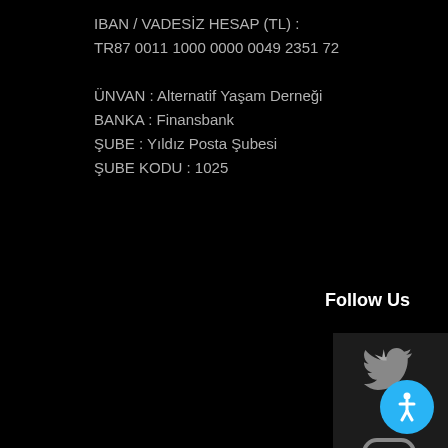IBAN / VADESİZ HESAP (TL) :
TR87 0011 1000 0000 0049 2351 72

ÜNVAN : Alternatif Yaşam Derneği
BANKA : Finansbank
ŞUBE : Yıldız Posta Şubesi
ŞUBE KODU : 1025
Follow Us
[Figure (illustration): Twitter bird icon in gray]
[Figure (illustration): Instagram icon in gray, partially visible with dark overlay and star symbol]
[Figure (illustration): Accessibility icon button in blue circle at bottom right]